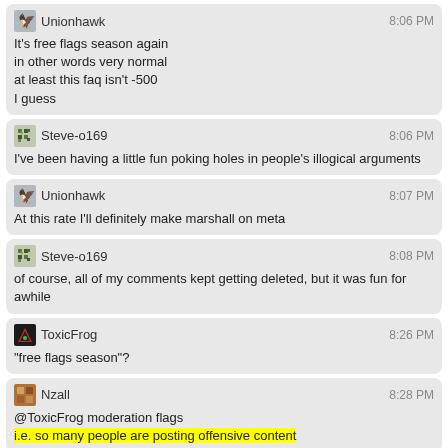Unionhawk 8:06 PM
It's free flags season again
in other words very normal
at least this faq isn't -500
I guess
Steve-o169 8:06 PM
I've been having a little fun poking holes in people's illogical arguments
Unionhawk 8:07 PM
At this rate I'll definitely make marshall on meta
Steve-o169 8:08 PM
of course, all of my comments kept getting deleted, but it was fun for awhile
ToxicFrog 8:26 PM
"free flags season"?
Nzall 8:28 PM
@ToxicFrog moderation flags
i.e. so many people are posting offensive content
ToxicFrog 8:29 PM
Aah
So not "free" as in "flagging things costs you nothing" but as in "it's really easy to find things that should be flagged"